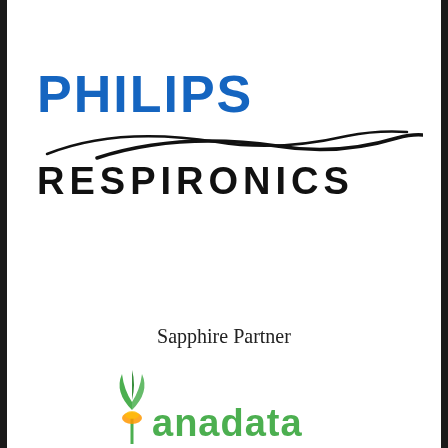[Figure (logo): Philips Respironics logo: PHILIPS in blue bold text above swoosh curves and RESPIRONICS in black bold spaced text]
Sapphire Partner
[Figure (logo): anadata logo with green plant/pineapple icon and green text partially visible at bottom]